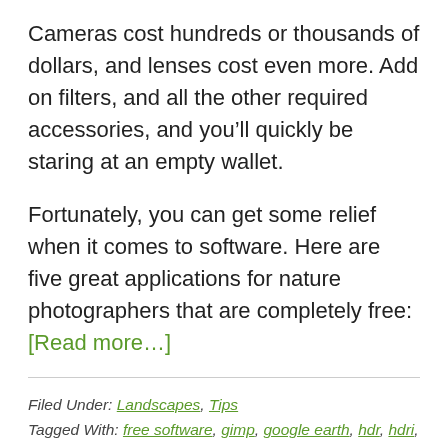Cameras cost hundreds or thousands of dollars, and lenses cost even more. Add on filters, and all the other required accessories, and you’ll quickly be staring at an empty wallet.
Fortunately, you can get some relief when it comes to software. Here are five great applications for nature photographers that are completely free: [Read more…]
Filed Under: Landscapes, Tips
Tagged With: free software, gimp, google earth, hdr, hdri, high dynamic range, image processing, jalbum, moon rise times, nature photography, photoshop alternatives, photoshop free, qtpfsgui, software, software applications, stellarium, sunset